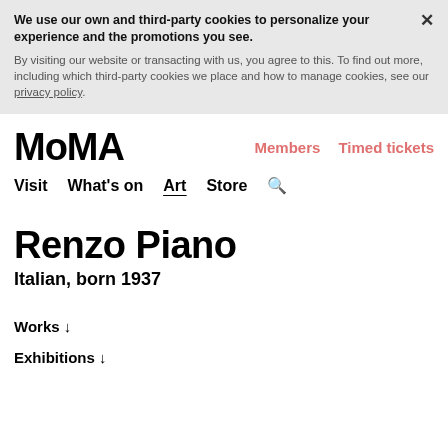We use our own and third-party cookies to personalize your experience and the promotions you see. By visiting our website or transacting with us, you agree to this. To find out more, including which third-party cookies we place and how to manage cookies, see our privacy policy.
MoMA
Members  Timed tickets
Visit  What's on  Art  Store  🔍
Renzo Piano
Italian, born 1937
Works ↓
Exhibitions ↓